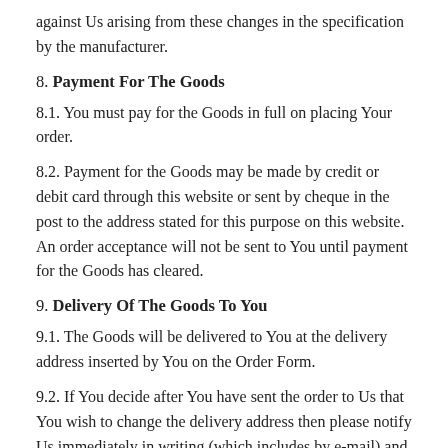against Us arising from these changes in the specification by the manufacturer.
8. Payment For The Goods
8.1. You must pay for the Goods in full on placing Your order.
8.2. Payment for the Goods may be made by credit or debit card through this website or sent by cheque in the post to the address stated for this purpose on this website. An order acceptance will not be sent to You until payment for the Goods has cleared.
9. Delivery Of The Goods To You
9.1. The Goods will be delivered to You at the delivery address inserted by You on the Order Form.
9.2. If You decide after You have sent the order to Us that You wish to change the delivery address then please notify Us immediately in writing (which includes by e-mail) and We will inform You in writing as to whether We can accept this change in delivery address.